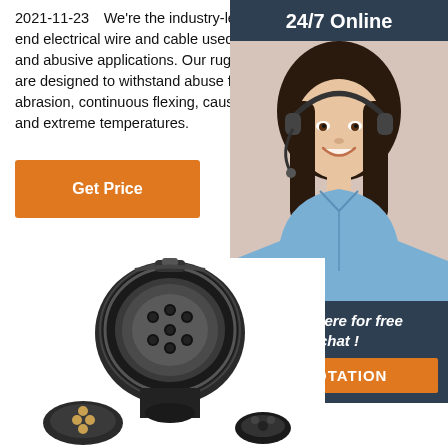2021-11-23  We're the industry-leader in high-end electrical wire and cable used in demanding and abusive applications. Our rugged products are designed to withstand abuse from impact, abrasion, continuous flexing, caustic chemicals, and extreme temperatures.
Get Price
[Figure (infographic): Sidebar widget with dark blue background showing '24/7 Online' header, photo of a woman with headset smiling, text 'Click here for free chat!' and an orange 'QUOTATION' button]
[Figure (photo): Black electrical connector/plug components shown from above, appearing to be heavy-duty industrial circular connectors]